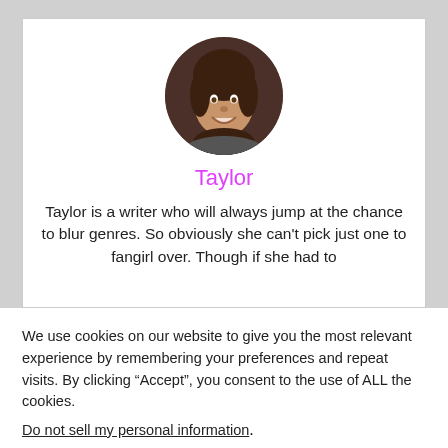[Figure (photo): Circular profile photo of a young woman with brown hair, smiling, against a dark background.]
Taylor
Taylor is a writer who will always jump at the chance to blur genres. So obviously she can't pick just one to fangirl over. Though if she had to
We use cookies on our website to give you the most relevant experience by remembering your preferences and repeat visits. By clicking “Accept”, you consent to the use of ALL the cookies.
Do not sell my personal information.
Cookie Settings
Accept